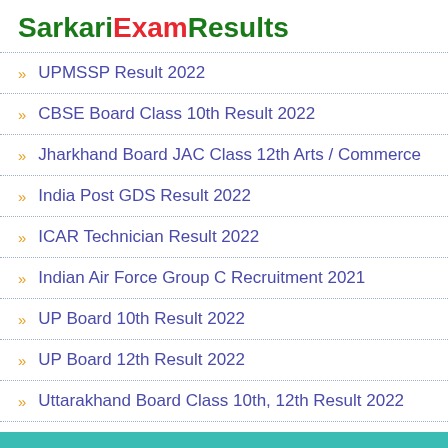SarkariExamResults
» UPMSSP Result 2022
» CBSE Board Class 10th Result 2022
» Jharkhand Board JAC Class 12th Arts / Commerce
» India Post GDS Result 2022
» ICAR Technician Result 2022
» Indian Air Force Group C Recruitment 2021
» UP Board 10th Result 2022
» UP Board 12th Result 2022
» Uttarakhand Board Class 10th, 12th Result 2022
Sarkari Exam
» BSF Water Wing SL Constable Recruitment 2022